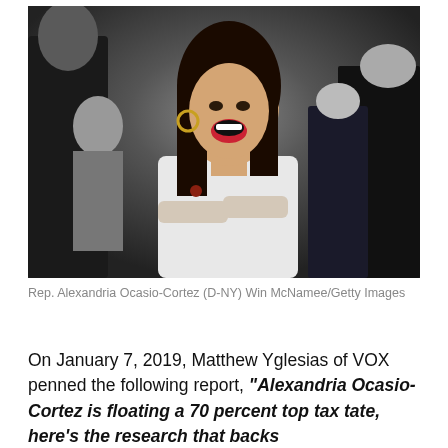[Figure (photo): Rep. Alexandria Ocasio-Cortez laughing and smiling in a white blazer at what appears to be a congressional event, surrounded by other people in formal attire.]
Rep. Alexandria Ocasio-Cortez (D-NY) Win McNamee/Getty Images
On January 7, 2019, Matthew Yglesias of VOX penned the following report, “Alexandria Ocasio-Cortez is floating a 70 percent top tax tate, here’s the research that backs